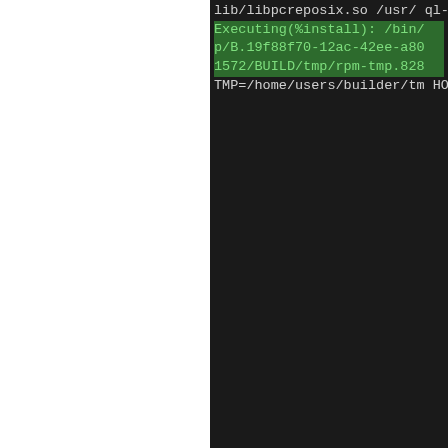[Figure (screenshot): Terminal/build log output on black background showing compiler linker flags and RPM build steps. Lines include library references, make commands, exit status, and environment variable assignments. A highlighted green section shows the Executing(%install) line.]